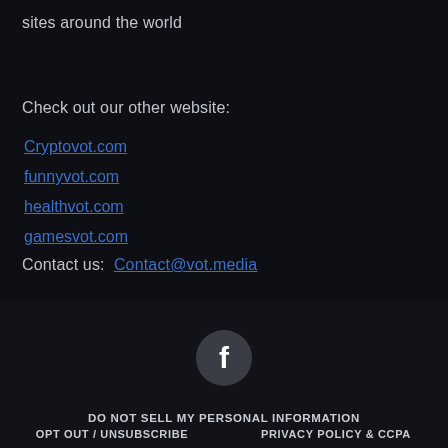sites around the world
Check out our other website:
Cryptovot.com
funnyvot.com
healthvot.com
gamesvot.com
Contact us:  Contact@vot.media
[Figure (logo): Facebook icon — white 'f' letter on a dark grey circular background]
DO NOT SELL MY PERSONAL INFORMATION
OPT OUT / UNSUBSCRIBE   PRIVACY POLICY & CCPA